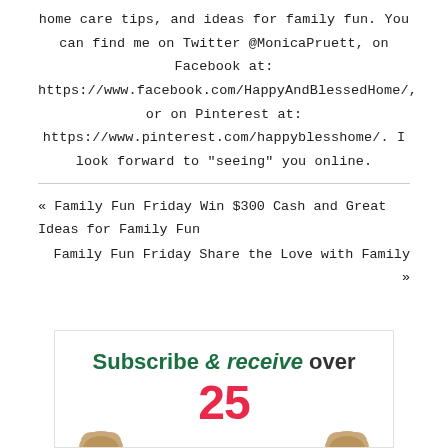home care tips, and ideas for family fun. You can find me on Twitter @MonicaPruett, on Facebook at: https://www.facebook.com/HappyAndBlessedHome/, or on Pinterest at: https://www.pinterest.com/happyblesshome/. I look forward to "seeing" you online.
« Family Fun Friday Win $300 Cash and Great Ideas for Family Fun
Family Fun Friday Share the Love with Family »
[Figure (infographic): Subscribe & receive over 25 banner with decorative heart cookies and red number 25]